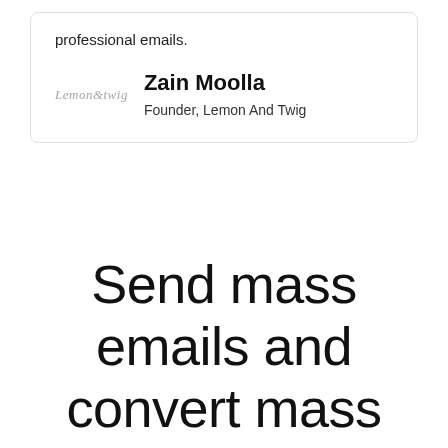professional emails.
Zain Moolla
Founder, Lemon And Twig
Send mass emails and convert mass customers
Start running your newsletter campaigns with